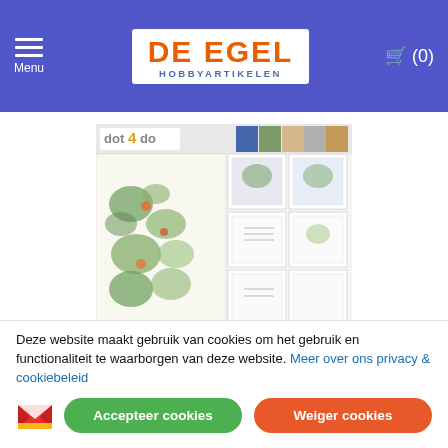Menu | De Egel Hobbyartikelen | (0)
[Figure (photo): Product image of Dot en Do 31 - voorjaarsbloemen craft sheet set, showing a craft/decoupage sheet with spring flowers and card designs]
Dot en Do 31 - voorjaarsbloemen
Dot &amp; Do  31
Deze website maakt gebruik van cookies om het gebruik en functionaliteit te waarborgen van deze website. Meer over ons privacy & cookiebeleid
Accepteer cookies
Weiger cookies